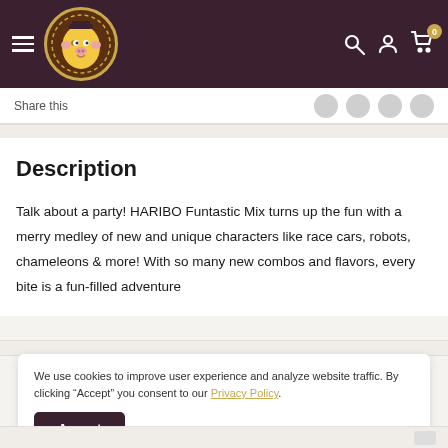CowSnack website header with logo, hamburger menu, search, account, and cart icons
Share this
Description
Talk about a party! HARIBO Funtastic Mix turns up the fun with a merry medley of new and unique characters like race cars, robots, chameleons & more! With so many new combos and flavors, every bite is a fun-filled adventure
We use cookies to improve user experience and analyze website traffic. By clicking “Accept” you consent to our Privacy Policy.
Accept